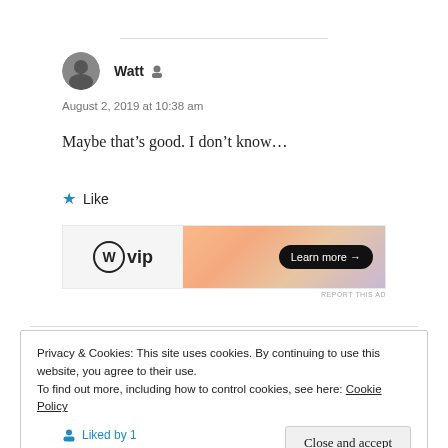Watt
August 2, 2019 at 10:38 am
Maybe that’s good. I don’t know…
★ Like
[Figure (other): WordPress VIP advertisement banner with logo on left and gradient background on right with 'Learn more →' button]
REPORT THIS AD
Privacy & Cookies: This site uses cookies. By continuing to use this website, you agree to their use.
To find out more, including how to control cookies, see here: Cookie Policy
Close and accept
Liked by 1